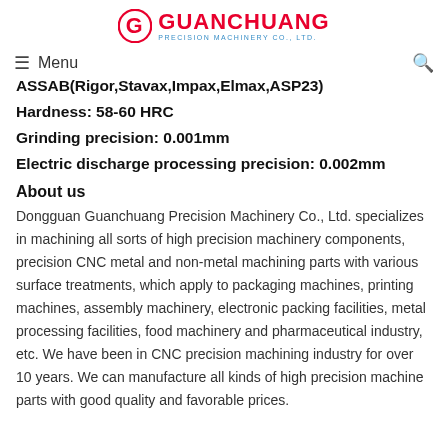GUANCHUANG PRECISION MACHINERY CO., LTD.
ASSAB(Rigor,Stavax,Impax,Elmax,ASP23)
Hardness: 58-60 HRC
Grinding precision: 0.001mm
Electric discharge processing precision: 0.002mm
About us
Dongguan Guanchuang Precision Machinery Co., Ltd. specializes in machining all sorts of high precision machinery components, precision CNC metal and non-metal machining parts with various surface treatments, which apply to packaging machines, printing machines, assembly machinery, electronic packing facilities, metal processing facilities, food machinery and pharmaceutical industry, etc. We have been in CNC precision machining industry for over 10 years. We can manufacture all kinds of high precision machine parts with good quality and favorable prices.